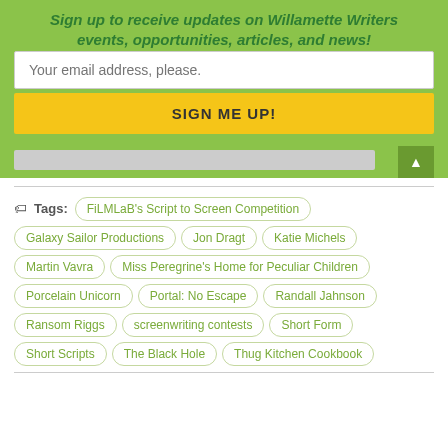Sign up to receive updates on Willamette Writers events, opportunities, articles, and news!
Your email address, please.
SIGN ME UP!
Tags: FiLMLaB's Script to Screen Competition, Galaxy Sailor Productions, Jon Dragt, Katie Michels, Martin Vavra, Miss Peregrine's Home for Peculiar Children, Porcelain Unicorn, Portal: No Escape, Randall Jahnson, Ransom Riggs, screenwriting contests, Short Form, Short Scripts, The Black Hole, Thug Kitchen Cookbook